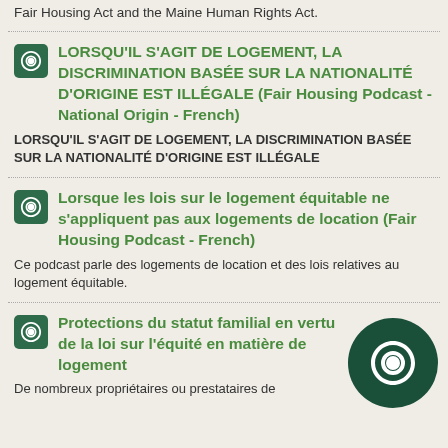Fair Housing Act and the Maine Human Rights Act.
LORSQU'IL S'AGIT DE LOGEMENT, LA DISCRIMINATION BASÉE SUR LA NATIONALITÉ D'ORIGINE EST ILLÉGALE (Fair Housing Podcast - National Origin - French)
LORSQU'IL S'AGIT DE LOGEMENT, LA DISCRIMINATION BASÉE SUR LA NATIONALITÉ D'ORIGINE EST ILLÉGALE
Lorsque les lois sur le logement équitable ne s'appliquent pas aux logements de location (Fair Housing Podcast - French)
Ce podcast parle des logements de location et des lois relatives au logement équitable.
Protections du statut familial en vertu de la loi sur l'équité en matière de logement
De nombreux propriétaires ou prestataires de